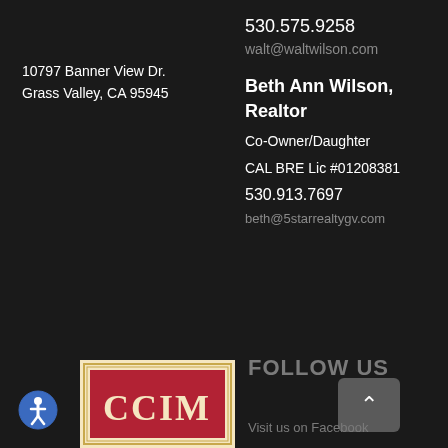10797 Banner View Dr.
Grass Valley, CA 95945
530.575.9258
walt@waltwilson.com
Beth Ann Wilson, Realtor
Co-Owner/Daughter
CAL BRE Lic #01208381
530.913.7697
beth@5starrealtygv.com
FOLLOW US
[Figure (logo): CCIM logo — red square with gold/cream lettering on cream background with gold border]
Visit us on Facebook